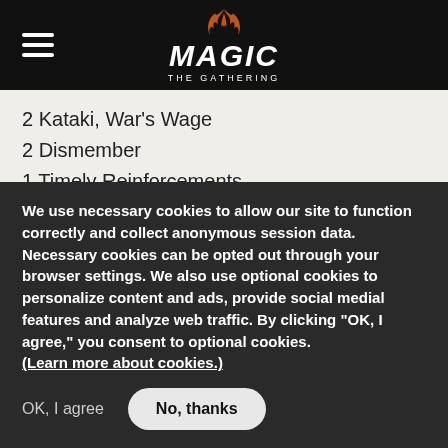Magic: The Gathering
2 Kataki, War's Wage
2 Dismember
1 Timely Reinforcements
2 Aven Mindcensor
1 Nevermore
KADOOKA, TOSHIYUKI
We use necessary cookies to allow our site to function correctly and collect anonymous session data. Necessary cookies can be opted out through your browser settings. We also use optional cookies to personalize content and ads, provide social medial features and analyze web traffic. By clicking “OK, I agree,” you consent to optional cookies. (Learn more about cookies.)